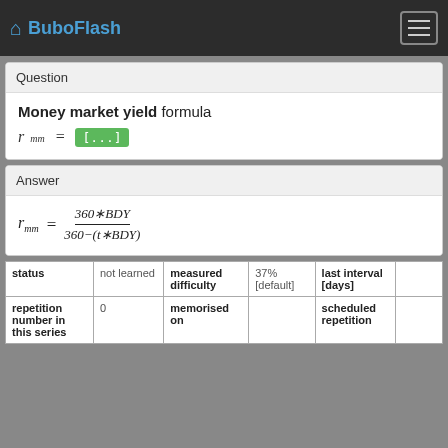BuboFlash
Question
Money market yield formula
Answer
| status |  | measured difficulty |  | last interval [days] |  |
| --- | --- | --- | --- | --- | --- |
| status | not learned | measured difficulty | 37% [default] | last interval [days] |  |
| repetition number in this series | 0 | memorised on |  | scheduled repetition |  |